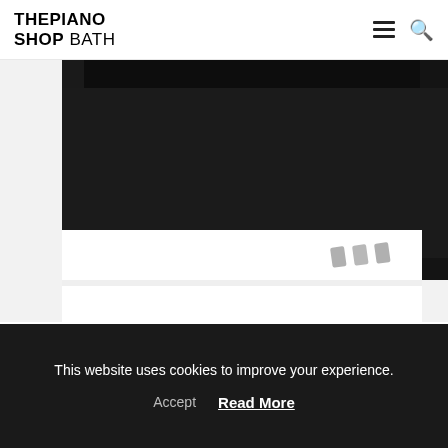THE PIANO SHOP BATH
[Figure (photo): Close-up photo of a Kawai CN39 black digital piano showing the base, pedals, and side panel against a white background]
Kawai CN39 Digital Piano
[Figure (photo): Photo of a dark grey/black digital piano with a SOLD badge overlay in the upper left corner]
This website uses cookies to improve your experience.
Accept   Read More